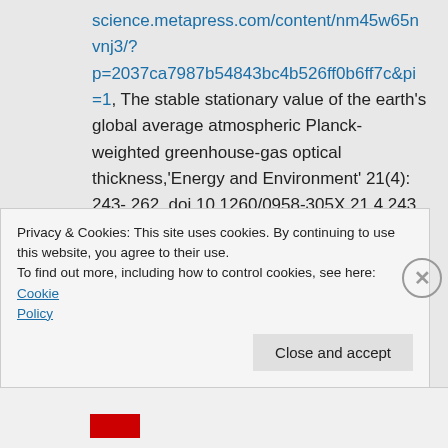science.metapress.com/content/nm45w65nvnj3/?p=2037ca7987b54843bc4b526ff0b6ff7c&pi=1, The stable stationary value of the earth's global average atmospheric Planck-weighted greenhouse-gas optical thickness,'Energy and Environment' 21(4): 243- 262, doi 10.1260/0958-305X.21.4.243.
As you rightly note, this is not to be
Privacy & Cookies: This site uses cookies. By continuing to use this website, you agree to their use. To find out more, including how to control cookies, see here: Cookie Policy